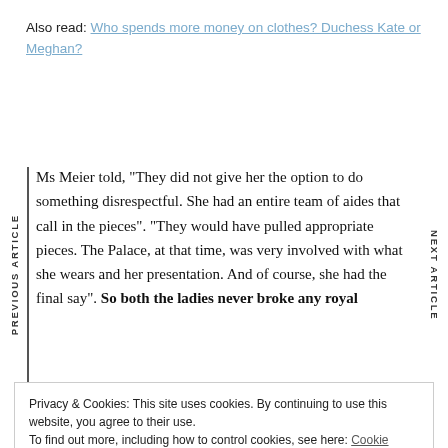Also read: Who spends more money on clothes? Duchess Kate or Meghan?
Ms Meier told, "They did not give her the option to do something disrespectful. She had an entire team of aides that call in the pieces". "They would have pulled appropriate pieces. The Palace, at that time, was very involved with what she wears and her presentation. And of course, she had the final say". So both the ladies never broke any royal
Privacy & Cookies: This site uses cookies. By continuing to use this website, you agree to their use.
To find out more, including how to control cookies, see here: Cookie Policy
Close and accept
SPONSORED CONTENT